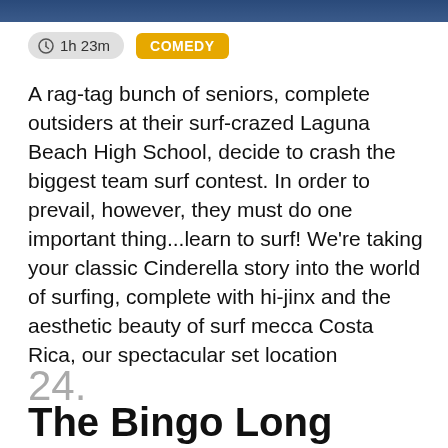[Figure (photo): Top banner image, partially visible, dark blue tones]
1h 23m  COMEDY
A rag-tag bunch of seniors, complete outsiders at their surf-crazed Laguna Beach High School, decide to crash the biggest team surf contest. In order to prevail, however, they must do one important thing...learn to surf! We're taking your classic Cinderella story into the world of surfing, complete with hi-jinx and the aesthetic beauty of surf mecca Costa Rica, our spectacular set location
24.
The Bingo Long